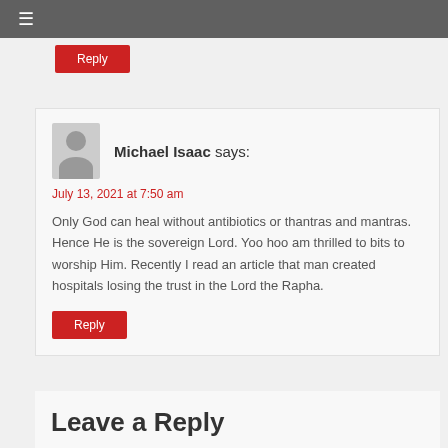☰
Reply
Michael Isaac says:
July 13, 2021 at 7:50 am

Only God can heal without antibiotics or thantras and mantras. Hence He is the sovereign Lord. Yoo hoo am thrilled to bits to worship Him. Recently I read an article that man created hospitals losing the trust in the Lord the Rapha.
Reply
Leave a Reply